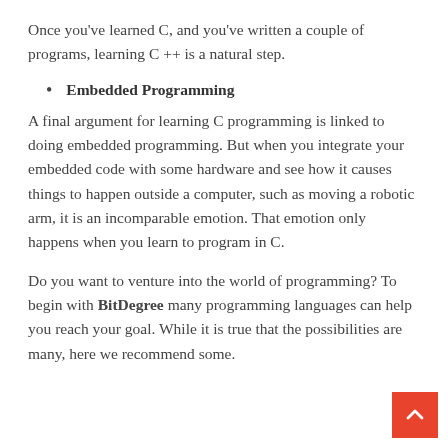Once you've learned C, and you've written a couple of programs, learning C ++ is a natural step.
Embedded Programming
A final argument for learning C programming is linked to doing embedded programming. But when you integrate your embedded code with some hardware and see how it causes things to happen outside a computer, such as moving a robotic arm, it is an incomparable emotion. That emotion only happens when you learn to program in C.
Do you want to venture into the world of programming? To begin with BitDegree many programming languages can help you reach your goal. While it is true that the possibilities are many, here we recommend some.